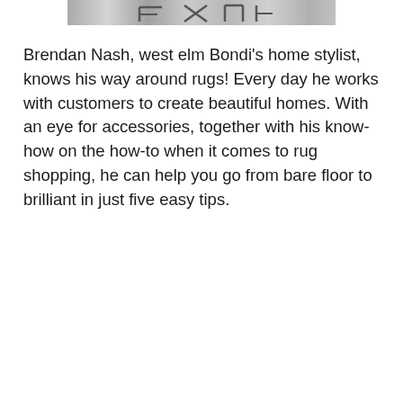[Figure (photo): Partial cropped black and white photo showing what appears to be the bottom portion of a sign or text, visible at the top of the page.]
Brendan Nash, west elm Bondi's home stylist, knows his way around rugs! Every day he works with customers to create beautiful homes. With an eye for accessories, together with his know-how on the how-to when it comes to rug shopping, he can help you go from bare floor to brilliant in just five easy tips.